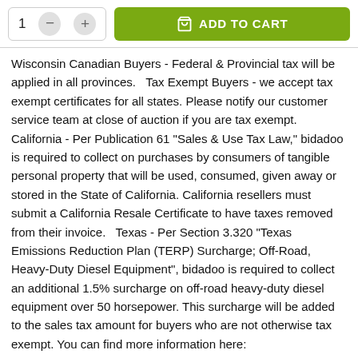[Figure (screenshot): Add to cart UI element with quantity selector showing '1' with minus and plus buttons, and a green 'ADD TO CART' button with cart icon]
Wisconsin Canadian Buyers - Federal & Provincial tax will be applied in all provinces.   Tax Exempt Buyers - we accept tax exempt certificates for all states. Please notify our customer service team at close of auction if you are tax exempt. California - Per Publication 61 "Sales & Use Tax Law," bidadoo is required to collect on purchases by consumers of tangible personal property that will be used, consumed, given away or stored in the State of California. California resellers must submit a California Resale Certificate to have taxes removed from their invoice.   Texas - Per Section 3.320 "Texas Emissions Reduction Plan (TERP) Surcharge; Off-Road, Heavy-Duty Diesel Equipment", bidadoo is required to collect an additional 1.5% surcharge on off-road heavy-duty diesel equipment over 50 horsepower. This surcharge will be added to the sales tax amount for buyers who are not otherwise tax exempt. You can find more information here: https://comptroller.texas.gov/taxes/motor-vehicle/terp-off-road.php